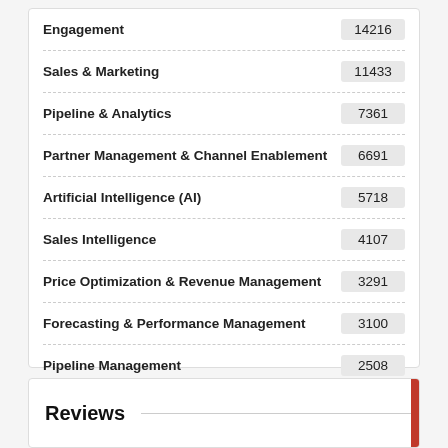| Category | Count |
| --- | --- |
| Engagement | 14216 |
| Sales & Marketing | 11433 |
| Pipeline & Analytics | 7361 |
| Partner Management & Channel Enablement | 6691 |
| Artificial Intelligence (AI) | 5718 |
| Sales Intelligence | 4107 |
| Price Optimization & Revenue Management | 3291 |
| Forecasting & Performance Management | 3100 |
| Pipeline Management | 2508 |
Reviews